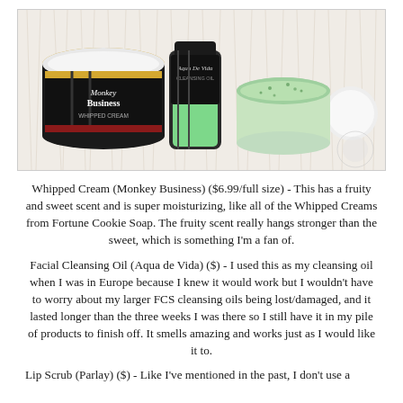[Figure (photo): Three beauty/skincare products on a white fluffy fur surface: a dark jar labeled 'Monkey Business Whipped Cream' on the left, a small dark bottle labeled 'Aqua De Vida' in the center, and an open clear container with green scrub and white lid on the right.]
Whipped Cream (Monkey Business) ($6.99/full size) - This has a fruity and sweet scent and is super moisturizing, like all of the Whipped Creams from Fortune Cookie Soap. The fruity scent really hangs stronger than the sweet, which is something I'm a fan of.
Facial Cleansing Oil (Aqua de Vida) ($) - I used this as my cleansing oil when I was in Europe because I knew it would work but I wouldn't have to worry about my larger FCS cleansing oils being lost/damaged, and it lasted longer than the three weeks I was there so I still have it in my pile of products to finish off. It smells amazing and works just as I would like it to.
Lip Scrub (Parlay) ($) - Like I've mentioned in the past, I don't use a